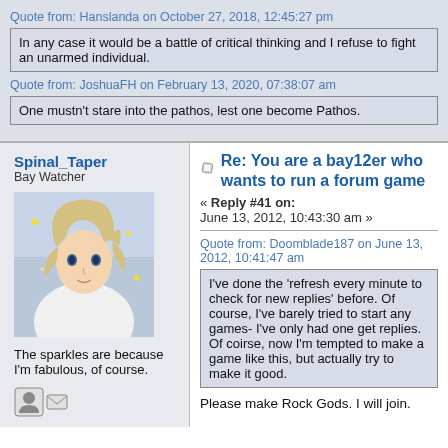Quote from: Hanslanda on October 27, 2018, 12:45:27 pm
In any case it would be a battle of critical thinking and I refuse to fight an unarmed individual.
Quote from: JoshuaFH on February 13, 2020, 07:38:07 am
One mustn't stare into the pathos, lest one become Pathos.
Spinal_Taper
Bay Watcher
[Figure (illustration): Anime-style character avatar with flowing hair]
The sparkles are because I'm fabulous, of course.
Re: You are a bay12er who wants to run a forum game
« Reply #41 on: June 13, 2012, 10:43:30 am »
Quote from: Doomblade187 on June 13, 2012, 10:41:47 am
I've done the 'refresh every minute to check for new replies' before. Of course, I've barely tried to start any games- I've only had one get replies. Of coirse, now I'm tempted to make a game like this, but actually try to make it good.
Please make Rock Gods. I will join.